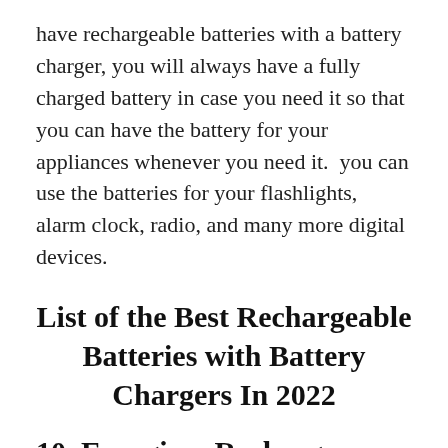have rechargeable batteries with a battery charger, you will always have a fully charged battery in case you need it so that you can have the battery for your appliances whenever you need it.  you can use the batteries for your flashlights, alarm clock, radio, and many more digital devices.
List of the Best Rechargeable Batteries with Battery Chargers In 2022
10. Energizer Recharge